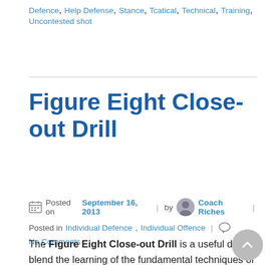Defence, Help Defense, Stance, Tcatical, Technical, Training, Uncontested shot
Figure Eight Close-out Drill
Posted on September 16, 2013 | by Coach Riches | Posted in Individual Defence, Individual Offence | No Comments ↓
The Figure Eight Close-out Drill is a useful drill to blend the learning of the fundamental techniques of passing and the close-out in a low pressure competitive situation. Players will have the opportunity to practice passing under pressure. For a coach a number of passes can be focused upon in quick succession with little time being